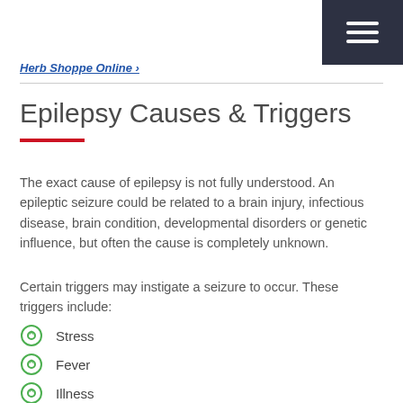hamburger menu icon
Herb Shoppe Online
Epilepsy Causes & Triggers
The exact cause of epilepsy is not fully understood. An epileptic seizure could be related to a brain injury, infectious disease, brain condition, developmental disorders or genetic influence, but often the cause is completely unknown.
Certain triggers may instigate a seizure to occur. These triggers include:
Stress
Fever
Illness
Hormonal changes